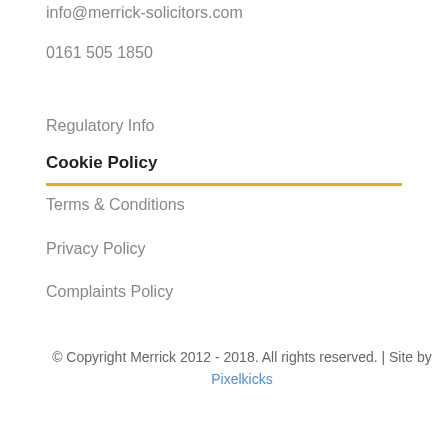info@merrick-solicitors.com
0161 505 1850
Regulatory Info
Cookie Policy
Terms & Conditions
Privacy Policy
Complaints Policy
© Copyright Merrick 2012 - 2018. All rights reserved. | Site by Pixelkicks